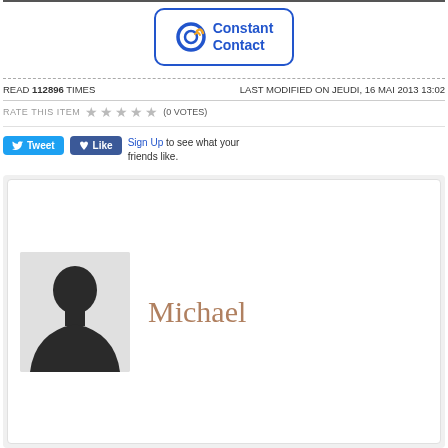[Figure (logo): Constant Contact logo in blue rounded rectangle border, with circular C icon with orange accent and blue text 'Constant Contact']
READ 112896 TIMES   LAST MODIFIED ON JEUDI, 16 MAI 2013 13:02
RATE THIS ITEM ★ ★ ★ ★ ★ (0 VOTES)
Tweet  Like  Sign Up to see what your friends like.
[Figure (photo): Profile card with a silhouette placeholder photo of a person on the left and the name 'Michael' in serif brown/tan font on the right, inside a white card with light gray outer background]